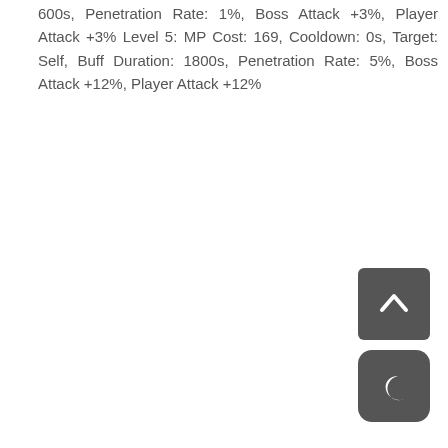600s, Penetration Rate: 1%, Boss Attack +3%, Player Attack +3% Level 5: MP Cost: 169, Cooldown: 0s, Target: Self, Buff Duration: 1800s, Penetration Rate: 5%, Boss Attack +12%, Player Attack +12%
[Figure (other): Dark grey rounded square button with a white upward-pointing chevron/caret icon, used as a scroll-to-top button.]
[Figure (other): Dark grey rounded square button with a white crescent moon icon, used as a night mode toggle button.]